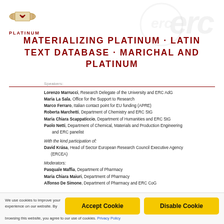[Figure (logo): PLATINUM scrolls logo with red ribbon]
MATERIALIZING PLATINUM · LATIN TEXT DATABASE · MARICHAL AND PLATINUM
Speakers:
Lorenzo Marrucci, Research Delegate of the University and ERC AdG
Maria La Sala, Office for the Support to Research
Marco Ferraro, Italian contact point for EU funding (APRE)
Roberta Marchetti, Department of Chemistry and ERC StG
Maria Chiara Scappaticcio, Department of Humanities and ERC StG
Paolo Netti, Department of Chemical, Materials and Production Engineering and ERC panelist
With the kind participation of:
David Krása, Head of Sector European Research Council Executive Agency (ERCEA)
Moderators:
Pasquale Maffia, Department of Pharmacy
Maria Chiara Maiuri, Department of Pharmacy
Alfonso De Simone, Department of Pharmacy and ERC CoG
We use cookies to improve your experience on our website. By browsing this website, you agree to our use of cookies. Privacy Policy